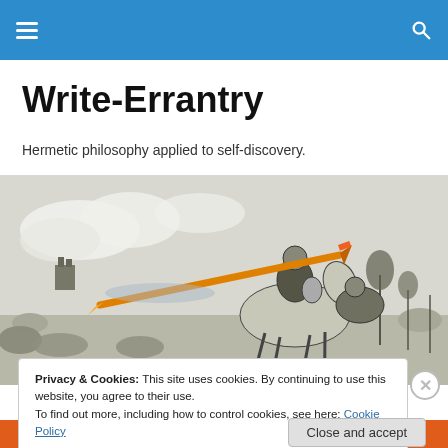Write-Errantry site navigation bar
Write-Errantry
Hermetic philosophy applied to self-discovery.
[Figure (illustration): Black and white engraving-style illustration of a knight on horseback charging with a large pencil as a lance, with another figure riding behind, set against a landscape with clouds and vegetation.]
Privacy & Cookies: This site uses cookies. By continuing to use this website, you agree to their use.
To find out more, including how to control cookies, see here: Cookie Policy
Close and accept
email with more privacy.